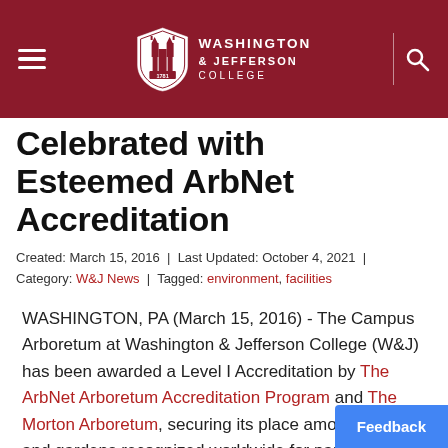Washington & Jefferson College
Celebrated with Esteemed ArbNet Accreditation
Created: March 15, 2016  |  Last Updated: October 4, 2021  |  Category: W&J News  |  Tagged: environment, facilities
WASHINGTON, PA (March 15, 2016) - The Campus Arboretum at Washington & Jefferson College (W&J) has been awarded a Level I Accreditation by The ArbNet Arboretum Accreditation Program and The Morton Arboretum, securing its place among arboreta and gardens recognized world-wide for particularly high standards of professionalism in the field.